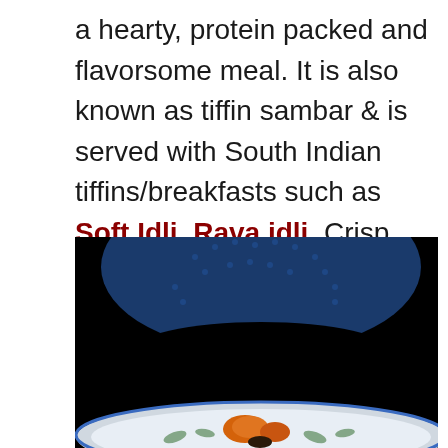a hearty, protein packed and flavorsome meal. It is also known as tiffin sambar & is served with South Indian tiffins/breakfasts such as Soft Idli, Rava idli, Crisp medu vada, khara Pongal, crispy dosa, masala dosa and bonda.
[Figure (photo): Dark background food photograph showing a blue decorative bowl at the top and a blue and white patterned plate at the bottom with food items including orange/yellow vegetables visible, shot against a black background.]